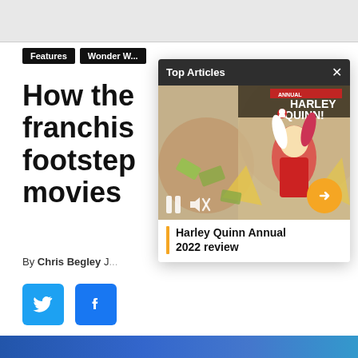Features
Wonder W...
How the franchise footsteps movies
By Chris Begley  J...
[Figure (screenshot): Top Articles overlay card showing Harley Quinn Annual 2022 review comic book cover with video controls (pause, mute buttons, orange arrow button), overlaid on a webpage with social share buttons (Twitter, Facebook)]